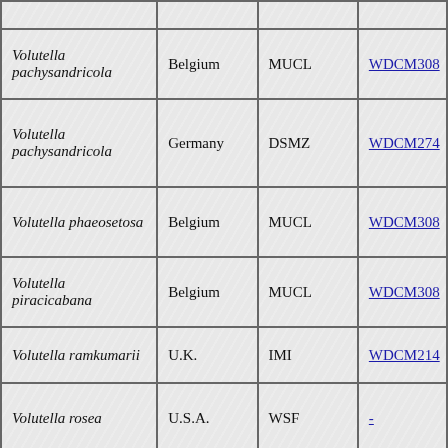|  |  |  |  |
| Volutella pachysandricola | Belgium | MUCL | WDCM308... |
| Volutella pachysandricola | Germany | DSMZ | WDCM274... |
| Volutella phaeosetosa | Belgium | MUCL | WDCM308... |
| Volutella piracicabana | Belgium | MUCL | WDCM308... |
| Volutella ramkumarii | U.K. | IMI | WDCM214... |
| Volutella rosea | U.S.A. | WSF | - |
| Volutella roseola | Belgium | BCCM/IHEM | WDCM642... |